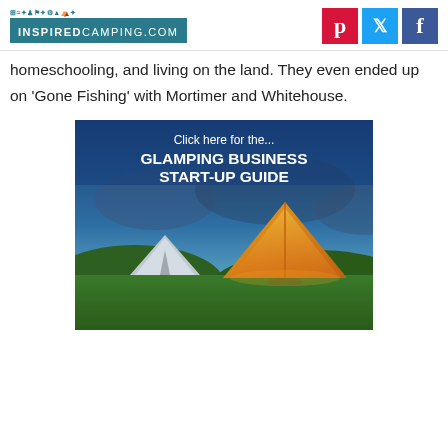INSPIREDCAMPING.COM — with Pinterest, Twitter, Facebook icons
homeschooling, and living on the land. They even ended up on 'Gone Fishing' with Mortimer and Whitehouse.
[Figure (illustration): Advertisement banner: 'Click here for the... GLAMPING BUSINESS START-UP GUIDE' with a twilight photo of glamping bell tents on a green hillside.]